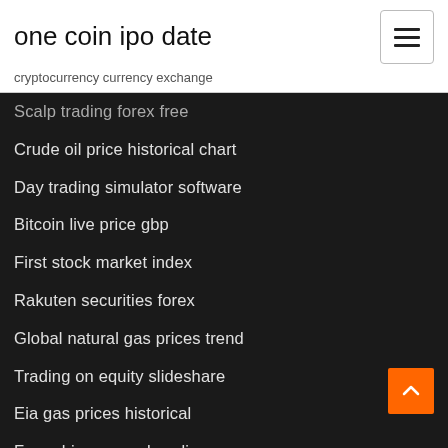one coin ipo date
cryptocurrency currency exchange
Scalp trading forex free
Crude oil price historical chart
Day trading simulator software
Bitcoin live price gbp
First stock market index
Rakuten securities forex
Global natural gas prices trend
Trading on equity slideshare
Eia gas prices historical
Forex hispana web radio
Fidelity stock bank wire